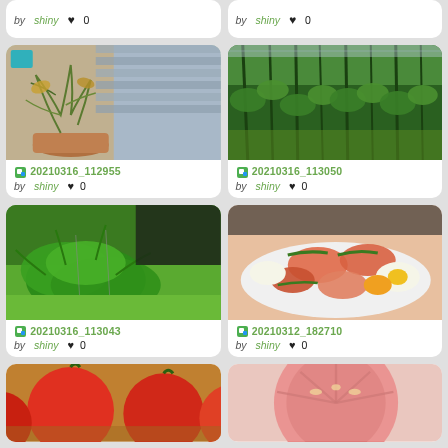[Figure (screenshot): Top partial card left: by shiny, heart 0]
[Figure (screenshot): Top partial card right: by shiny, heart 0]
[Figure (photo): Garden photo showing wilting tomato plant in pot against blue siding]
20210316_112955 by shiny ♥ 0
[Figure (photo): Garden photo showing tall lush green plants in greenhouse or garden bed]
20210316_113050 by shiny ♥ 0
[Figure (photo): Garden photo showing green leafy plants over grass lawn]
20210316_113043 by shiny ♥ 0
[Figure (photo): Food photo showing a plate of salad with salmon, eggs, green beans]
20210312_182710 by shiny ♥ 0
[Figure (photo): Bottom partial card left: photo of red tomatoes in basket]
[Figure (photo): Bottom partial card right: photo of sliced pink tomato]